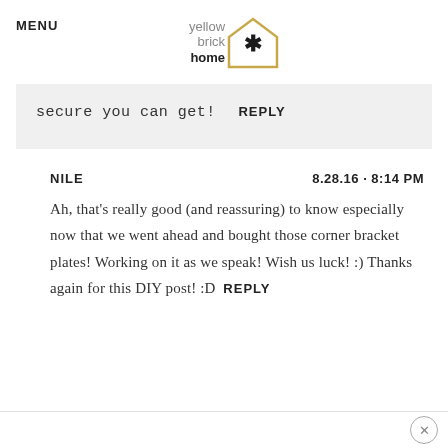MENU | yellow brick home logo
secure you can get!  REPLY
NILE   8.28.16 · 8:14 PM
Ah, that's really good (and reassuring) to know especially now that we went ahead and bought those corner bracket plates! Working on it as we speak! Wish us luck! :) Thanks again for this DIY post! :D  REPLY